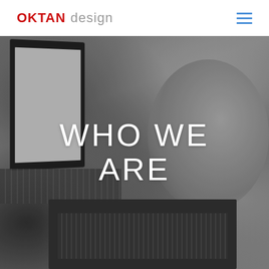OKTAN design
[Figure (photo): Grayscale background photo of a person working at a desk with laptops and writing with a pen, blurred/shallow depth of field. Text overlay reads WHO WE ARE in large white letters.]
WHO WE ARE